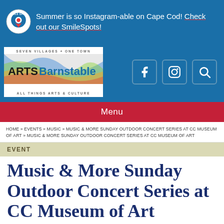Summer is so Instagram-able on Cape Cod! Check out our SmileSpots!
[Figure (logo): Arts Barnstable logo - Seven Villages + One Town, All Things Arts & Culture]
[Figure (infographic): Social media icons: Facebook, Instagram, Search]
Menu
HOME » EVENTS » MUSIC » MUSIC & MORE SUNDAY OUTDOOR CONCERT SERIES AT CC MUSEUM OF ART » MUSIC & MORE SUNDAY OUTDOOR CONCERT SERIES AT CC MUSEUM OF ART
EVENT
Music & More Sunday Outdoor Concert Series at CC Museum of Art
DETAILS